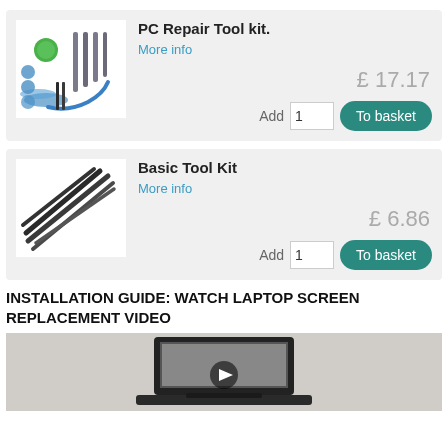[Figure (photo): Product card for PC Repair Tool kit showing a blue and green tool kit with screwdrivers and pry tools, priced at £17.17 with Add 1 quantity and To basket button]
[Figure (photo): Product card for Basic Tool Kit showing tweezers and pry tools, priced at £6.86 with Add 1 quantity and To basket button]
INSTALLATION GUIDE: WATCH LAPTOP SCREEN REPLACEMENT VIDEO
[Figure (screenshot): Video thumbnail showing a laptop screen replacement installation guide video]